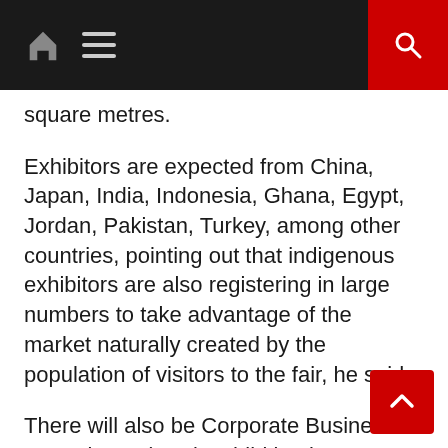[Navigation bar with home icon, menu icon, and search button]
square metres.
Exhibitors are expected from China, Japan, India, Indonesia, Ghana, Egypt, Jordan, Pakistan, Turkey, among other countries, pointing out that indigenous exhibitors are also registering in large numbers to take advantage of the market naturally created by the population of visitors to the fair, he said.
There will also be Corporate Business-to-Business (B2B) Exhibition between November 7 and 11 at Eko Hotel, which is a response to the demand of big corporations and foreign exhibitors who are more interested in networking and business matchmaking.